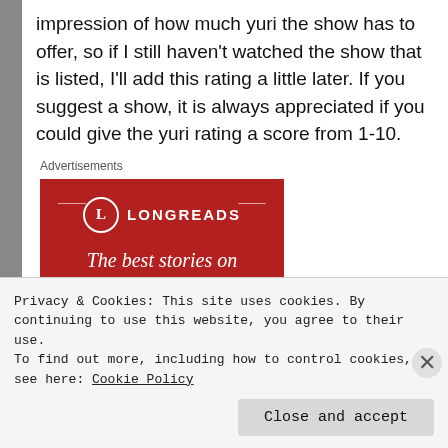impression of how much yuri the show has to offer, so if I still haven't watched the show that is listed, I'll add this rating a little later. If you suggest a show, it is always appreciated if you could give the yuri rating a score from 1-10.
Advertisements
[Figure (other): Longreads advertisement banner with red background showing the Longreads logo (L in a circle) and tagline 'The best stories on the web – ours, and']
Privacy & Cookies: This site uses cookies. By continuing to use this website, you agree to their use.
To find out more, including how to control cookies, see here: Cookie Policy
Close and accept